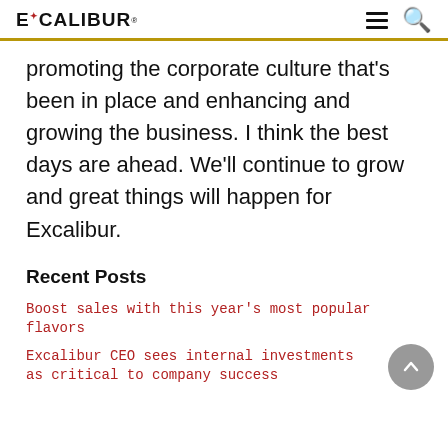EXCALIBUR
promoting the corporate culture that’s been in place and enhancing and growing the business. I think the best days are ahead. We’ll continue to grow and great things will happen for Excalibur.
Recent Posts
Boost sales with this year’s most popular flavors
Excalibur CEO sees internal investments as critical to company success